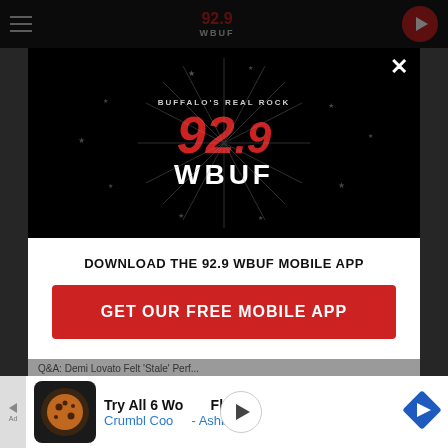92.9 WBUF - Buffalo's Real Rock
[Figure (logo): 92.9 WBUF Buffalo's Real Rock radio station logo with starburst on black background]
DOWNLOAD THE 92.9 WBUF MOBILE APP
GET OUR FREE MOBILE APP
Q&A: Demi Lovato Felt 'Stale' Perf...
Also listen on:  amazon alexa
Try All 6 Wonders Flavors
Crumbl Cookies - Ashburn